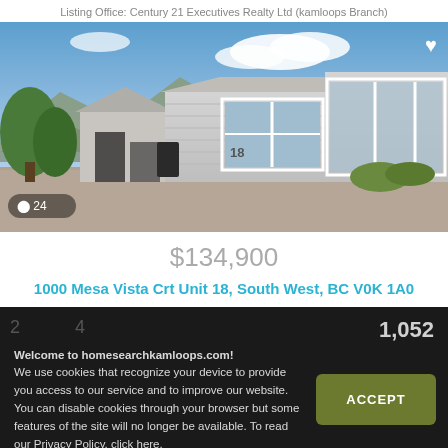Listing Office: Century 21 Executives Realty Ltd (kamloops Branch)
[Figure (photo): Exterior photo of a mobile/manufactured home with white siding, bay window, gravel driveway, and blue sky background. Photo count badge showing camera icon and 24.]
$134,900
1000 Mesa Vista Crt Unit 18, South West, BC V0K 1A0
Welcome to homesearchkamloops.com! We use cookies that recognize your device to provide you access to our service and to improve our website. You can disable cookies through your browser but some features of the site will no longer be available. To read our Privacy Policy, click here.
1,052